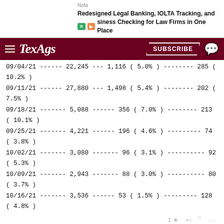[Figure (screenshot): Ad banner for legal banking service: 'Nota — Redesigned Legal Banking, IOLTA Tracking, and Business Checking for Law Firms in One Place']
[Figure (screenshot): TexAgs navigation bar with hamburger menu, TexAgs logo, Subscribe button, and chat icon]
09/04/21 ------ 22,245 --- 1,116 ( 5.0% ) -------- 285 ( 10.2% )
09/11/21 ------ 27,880 --- 1,498 ( 5.4% ) -------- 202 ( 7.5% )
09/18/21 ------- 5,088 ------ 356 ( 7.0% ) -------- 213 ( 10.1% )
09/25/21 ------- 4,221 ------ 196 ( 4.6% ) --------- 74 ( 3.8% )
10/02/21 ------- 3,080 ------- 96 ( 3.1% ) ---------- 92 ( 5.3% )
10/09/21 ------- 2,943 ------- 88 ( 3.0% ) ---------- 80 ( 3.7% )
10/16/21 ------- 3,536 ------ 53 ( 1.5% ) --------- 128 ( 4.8% )
MiMi 10:07a, 10/19/21
In reply to trouble
Fixed my typo. I'm on mobile without my reading glasses and missed it. Thanks for pointing it out.
trouble 10:11a, 10/19/21
In reply to MiMi